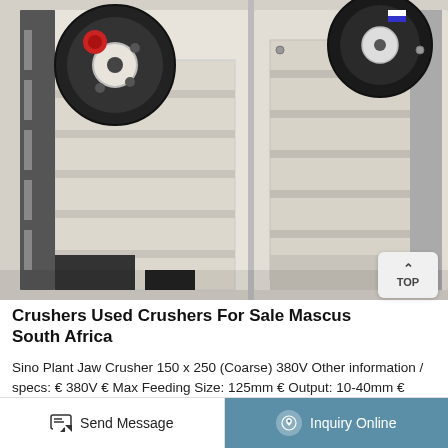[Figure (photo): Industrial jaw crusher machine with large black flywheel on left side and structural frame, photographed indoors against a light background. Two units visible side by side.]
Crushers Used Crushers For Sale Mascus South Africa
Sino Plant Jaw Crusher 150 x 250 (Coarse) 380V Other information / specs: € 380V € Max Feeding Size: 125mm € Output: 10-40mm € Capacity: 1-5 ton € Motor: 5.5kw € Size: (L x W x H) 750mm x 660mm x 850mm  Crushers 2020 South Africa
Send Message
Inquiry Online